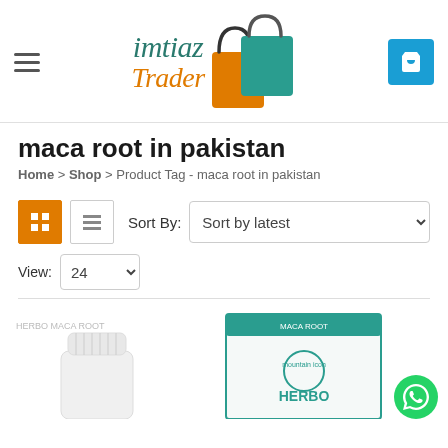[Figure (logo): Imtiaz Trader logo with shopping bags illustration — teal text 'imtiaz' and orange text 'Trader' with colorful shopping bags graphic]
maca root in pakistan
Home > Shop > Product Tag - maca root in pakistan
[Figure (screenshot): E-commerce toolbar with grid/list view toggle buttons, Sort By dropdown set to 'Sort by latest', and View dropdown set to 24]
[Figure (photo): Partial product image showing a white bottle/cap on the left and a Herbo Maca Root product box on the right — partially cropped at bottom of page]